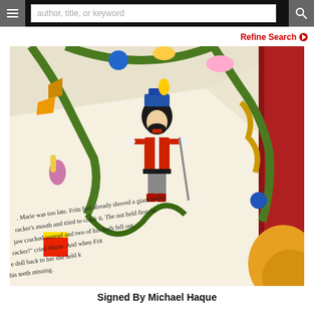author, title, or keyword
Refine Search
[Figure (photo): Open illustrated children's book showing a Nutcracker figure surrounded by a decorative wreath of toys, candies, and ornaments. The book text reads: '...Marie was too late. Fritz had already shoved a giant walnut cracker's mouth and tried to crack it. The nut held firm but the jaw cracked instead and two of his teeth fell out. "Cracker!" cried Marie. And when Fritz gave the doll back to her, she held k... his teeth missing...']
Signed By Michael Haque